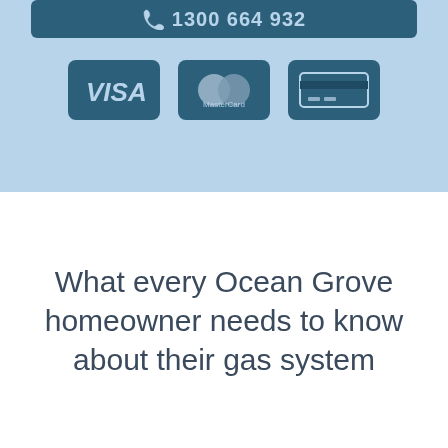[Figure (infographic): Top blue section showing a phone number bar with phone icon and '1300 664 932', and three payment method icons: VISA, MasterCard, and a generic credit card icon]
What every Ocean Grove homeowner needs to know about their gas system